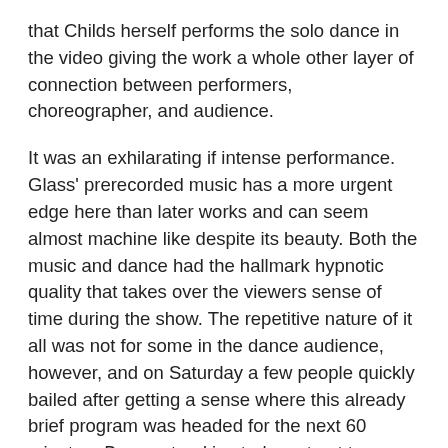that Childs herself performs the solo dance in the video giving the work a whole other layer of connection between performers, choreographer, and audience.

It was an exhilarating if intense performance. Glass' prerecorded music has a more urgent edge here than later works and can seem almost machine like despite its beauty. Both the music and dance had the hallmark hypnotic quality that takes over the viewers sense of time during the show. The repetitive nature of it all was not for some in the dance audience, however, and on Saturday a few people quickly bailed after getting a sense where this already brief program was headed for the next 60 minutes. Dance stood in stark contrast to Morris' piece from earlier in the weekend whose whimsy and inventiveness could be seen trickling out into so much choreography that followed his. Childs' Dance seems much more defiantly alone - a statement unconcerned with winning over the masses in its effort to follow through on its vision and purpose. But that is exciting in and of itself. Childs boldness never lags and, even all these years after the original, it seemed defiant, yet engaging. Something about the video images of the past and the contrast with the real